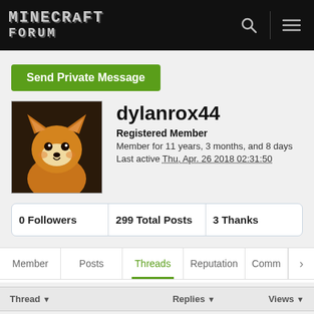MINECRAFT FORUM
Send Private Message
[Figure (photo): Avatar image of a Shiba Inu dog with brown and white fur against a dark background]
dylanrox44
Registered Member
Member for 11 years, 3 months, and 8 days
Last active Thu, Apr. 26 2018 02:31:50
| 0 Followers | 299 Total Posts | 3 Thanks |
| --- | --- | --- |
Member | Posts | Threads | Reputation | Comm
| Thread | Replies | Views |
| --- | --- | --- |